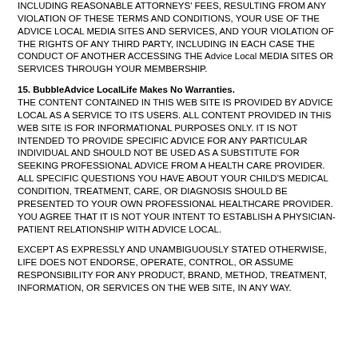INCLUDING REASONABLE ATTORNEYS' FEES, RESULTING FROM ANY VIOLATION OF THESE TERMS AND CONDITIONS, YOUR USE OF THE ADVICE LOCAL MEDIA SITES AND SERVICES, AND YOUR VIOLATION OF THE RIGHTS OF ANY THIRD PARTY, INCLUDING IN EACH CASE THE CONDUCT OF ANOTHER ACCESSING THE Advice Local MEDIA SITES OR SERVICES THROUGH YOUR MEMBERSHIP.
15. BubbleAdvice LocalLife Makes No Warranties.
THE CONTENT CONTAINED IN THIS WEB SITE IS PROVIDED BY ADVICE LOCAL AS A SERVICE TO ITS USERS. ALL CONTENT PROVIDED IN THIS WEB SITE IS FOR INFORMATIONAL PURPOSES ONLY. IT IS NOT INTENDED TO PROVIDE SPECIFIC ADVICE FOR ANY PARTICULAR INDIVIDUAL AND SHOULD NOT BE USED AS A SUBSTITUTE FOR SEEKING PROFESSIONAL ADVICE FROM A HEALTH CARE PROVIDER. ALL SPECIFIC QUESTIONS YOU HAVE ABOUT YOUR CHILD'S MEDICAL CONDITION, TREATMENT, CARE, OR DIAGNOSIS SHOULD BE PRESENTED TO YOUR OWN PROFESSIONAL HEALTHCARE PROVIDER. YOU AGREE THAT IT IS NOT YOUR INTENT TO ESTABLISH A PHYSICIAN-PATIENT RELATIONSHIP WITH ADVICE LOCAL.
EXCEPT AS EXPRESSLY AND UNAMBIGUOUSLY STATED OTHERWISE, LIFE DOES NOT ENDORSE, OPERATE, CONTROL, OR ASSUME RESPONSIBILITY FOR ANY PRODUCT, BRAND, METHOD, TREATMENT, INFORMATION, OR SERVICES ON THE WEB SITE, IN ANY WAY.